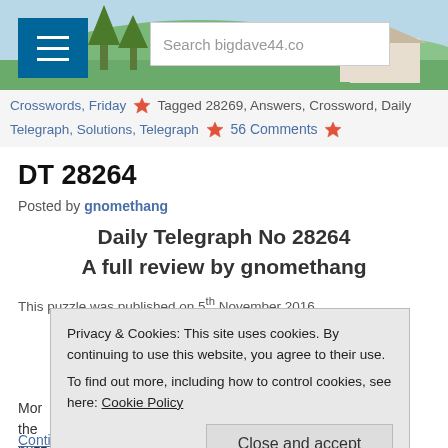[Figure (screenshot): Website header banner with landscape photo, menu button and search box for bigdave44.com]
Crosswords, Friday  ✦  Tagged 28269, Answers, Crossword, Daily Telegraph, Solutions, Telegraph  ✦  56 Comments  ✦
DT 28264
Posted by gnomethang
Daily Telegraph No 28264
A full review by gnomethang
This puzzle was published on 5th November 2016
Privacy & Cookies: This site uses cookies. By continuing to use this website, you agree to their use.
To find out more, including how to control cookies, see here: Cookie Policy
Close and accept
More ... the puzz...
Continue reading